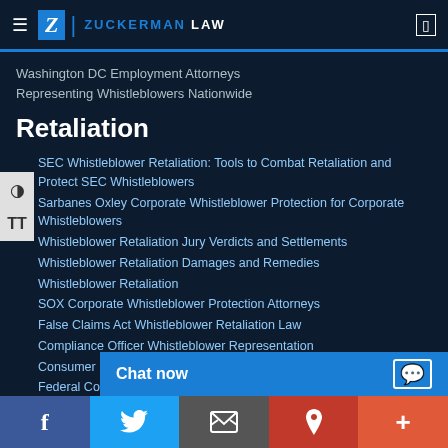Zuckerman Law
Washington DC Employment Attorneys
Representing Whistleblowers Nationwide
Retaliation
SEC Whistleblower Retaliation: Tools to Combat Retaliation and Protect SEC Whistleblowers
Sarbanes Oxley Corporate Whistleblower Protection for Corporate Whistleblowers
Whistleblower Retaliation Jury Verdicts and Settlements
Whistleblower Retaliation Damages and Remedies
Whistleblower Retaliation
SOX Corporate Whistleblower Protection Attorneys
False Claims Act Whistleblower Retaliation Law
Compliance Officer Whistleblower Representation
Consumer Finance and Banking Whistleblower Protection Law
Federal Contractor Prote...
Whistleblower Protectio...